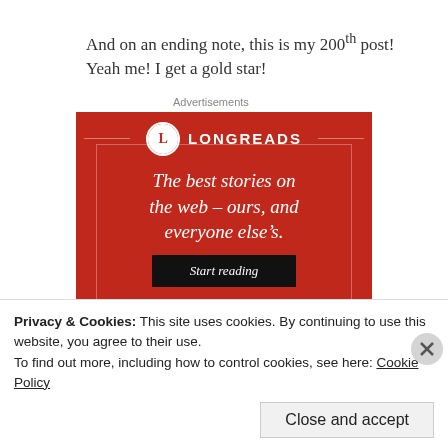And on an ending note, this is my 200th post! Yeah me! I get a gold star!
Advertisements
[Figure (illustration): Longreads advertisement banner. Red background with Longreads logo (circle with L), tagline 'The best stories on the web – ours, and everyone else's.' and a 'Start reading' button.]
Privacy & Cookies: This site uses cookies. By continuing to use this website, you agree to their use.
To find out more, including how to control cookies, see here: Cookie Policy
Close and accept